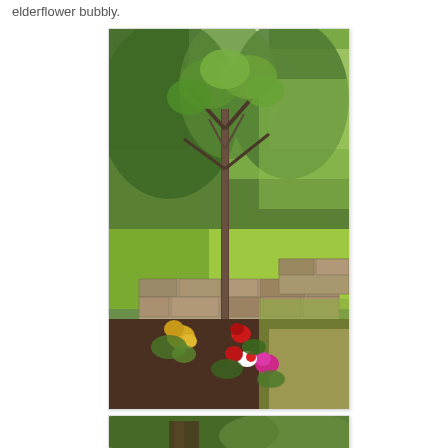elderflower bubbly.
[Figure (photo): Garden scene with a young tree in the foreground, colorful flowers (yellow, red, pink, white) planted in dark soil at its base, a stone wall in the middle ground, and lush green trees/forest in the background. Bright natural daylight.]
[Figure (photo): Partial view of another garden/outdoor photo cropped at the bottom of the page, showing green foliage.]